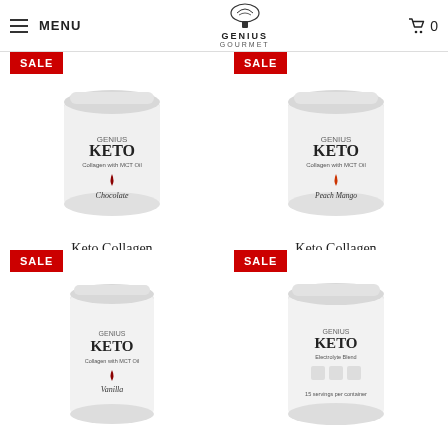MENU | GENIUS GOURMET | Cart 0
[Figure (photo): Keto Collagen with MCT Oil - Chocolate product jar (white container) with SALE badge]
Keto Collagen with MCT OIL - Chocolate
$9.99 $34.99
[Figure (photo): Keto Collagen with MCT Oil - Peach Mango product jar (white container) with SALE badge]
Keto Collagen with MCT OIL - Peach Mango
$9.99 $34.99
[Figure (photo): Keto Collagen with MCT Oil - Vanilla product jar (white container) with SALE badge]
[Figure (photo): Keto Electrolyte Blend product jar with SALE badge]